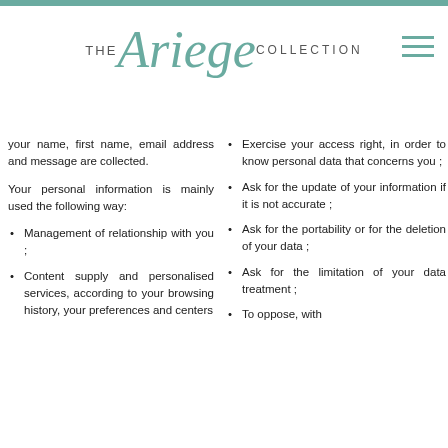[Figure (logo): The Ariege Collection logo with teal/sage cursive text]
your name, first name, email address and message are collected.
Your personal information is mainly used the following way:
Management of relationship with you ;
Content supply and personalised services, according to your browsing history, your preferences and centers
Exercise your access right, in order to know personal data that concerns you ;
Ask for the update of your information if it is not accurate ;
Ask for the portability or for the deletion of your data ;
Ask for the limitation of your data treatment ;
To oppose, with